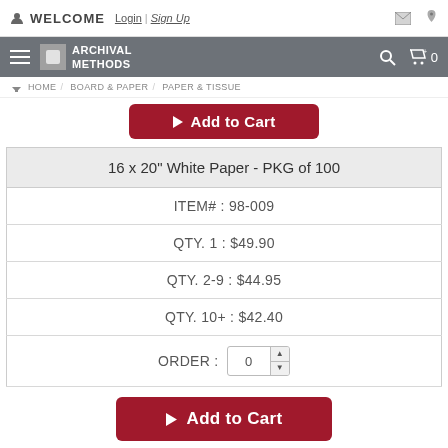WELCOME Login | Sign Up
Archival Methods — HOME / BOARD & PAPER / PAPER & TISSUE
[Figure (screenshot): Red Add to Cart button (partially visible at top)]
| 16 x 20" White Paper - PKG of 100 |
| ITEM# : 98-009 |
| QTY. 1 : $49.90 |
| QTY. 2-9 : $44.95 |
| QTY. 10+ : $42.40 |
| ORDER : 0 |
[Figure (screenshot): Red Add to Cart button at bottom of product listing]